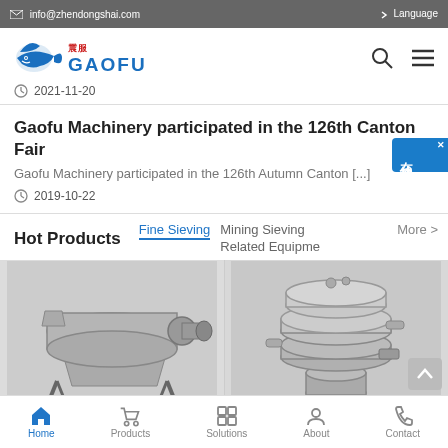info@zhendongshai.com  Language
[Figure (logo): Gaofu Machinery logo with shark icon and Chinese characters, blue text GAOFU]
2021-11-20
Gaofu Machinery participated in the 126th Canton Fair
Gaofu Machinery participated in the 126th Autumn Canton [...]
2019-10-22
Hot Products
Fine Sieving  Mining Sieving  Related Equipment  More >
[Figure (photo): Industrial sieving machine with cylindrical drum on metal stand]
[Figure (photo): Circular vibrating screen/sieve machine, stainless steel, multi-layer]
[Figure (illustration): Online chat widget with Chinese characters 在线咨询]
Home  Products  Solutions  About  Contact